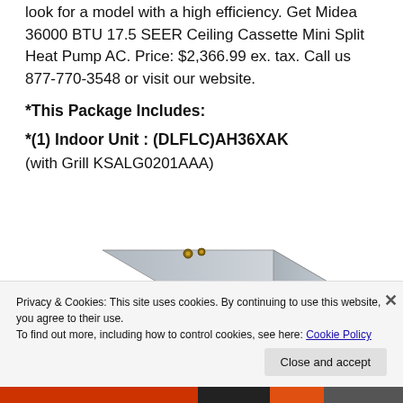look for a model with a high efficiency. Get Midea 36000 BTU 17.5 SEER Ceiling Cassette Mini Split Heat Pump AC. Price: $2,366.99 ex. tax. Call us 877-770-3548 or visit our website.
*This Package Includes:
*(1) Indoor Unit : (DLFLC)AH36XAK
(with Grill KSALG0201AAA)
[Figure (photo): Midea ceiling cassette mini split indoor unit, metallic rectangular device with connections on top]
Privacy & Cookies: This site uses cookies. By continuing to use this website, you agree to their use.
To find out more, including how to control cookies, see here: Cookie Policy
Close and accept